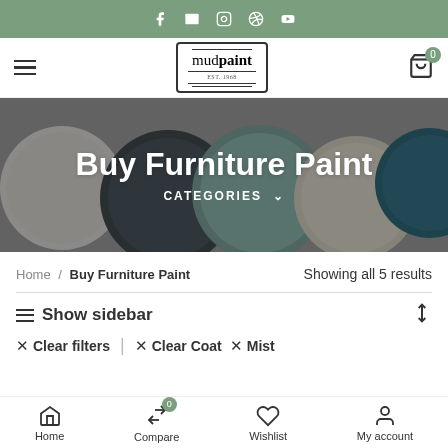Social media icons: Facebook, Email, Instagram, Pinterest, Vimeo
[Figure (logo): mudpaint logo in a rectangular border with decorative lines]
Buy Furniture Paint
CATEGORIES
Home / Buy Furniture Paint — Showing all 5 results
Show sidebar
× Clear filters | × Clear Coat × Mist
Home  Compare 0  Wishlist  My account